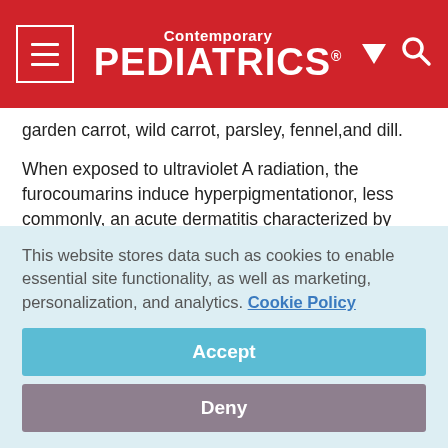Contemporary PEDIATRICS
garden carrot, wild carrot, parsley, fennel,and dill.
When exposed to ultraviolet A radiation, the furocoumarins induce hyperpigmentationor, less commonly, an acute dermatitis characterized by erythema or vesicleformation. The reaction occurs several hours to days following exposureand the resulting lesions may have unusual patterns, such as a linear streakingor finger- or handprints (Figure 2).
This website stores data such as cookies to enable essential site functionality, as well as marketing, personalization, and analytics. Cookie Policy
Accept
Deny